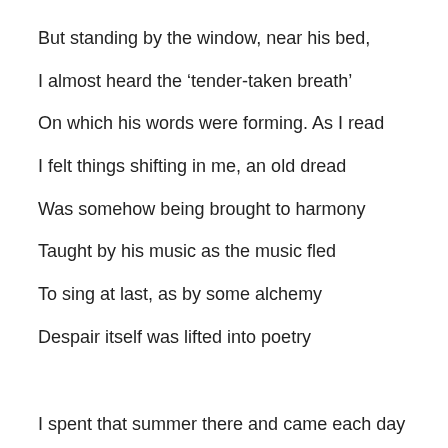But standing by the window, near his bed,
I almost heard the ‘tender-taken breath’
On which his words were forming. As I read
I felt things shifting in me, an old dread
Was somehow being brought to harmony
Taught by his music as the music fled
To sing at last, as by some alchemy
Despair itself was lifted into poetry
I spent that summer there and came each day